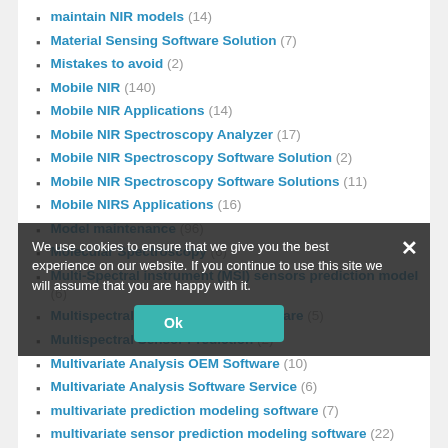maintain NIR models (14)
Material Sensing Software Solution (7)
Mistakes to avoid (2)
Mobile NIR (140)
Mobile NIR Applications (14)
Mobile NIR Spectroscopy Analyzer (17)
Mobile NIR Spectroscopy Software Solution (2)
Mobile NIR Spectroscopy Software Solutions (11)
Mobile NIRS Applications (16)
Model maintenance (96)
Molecular Spectroscopy (6)
Multi-Spectral instrument (MSI) sensors prediction model (6)
Multispectral Chipset analysis software (5)
Multispectral Sensor Prediction (2)
Multivariate Analysis OEM Software (10)
Multivariate Analysis Software Service (6)
multivariate prediction modeling software (7)
multivariate sensor prediction modeling software (22)
multivariate statistical modeling of VIS-NIR-SWIR (33)
Nahinfrarotspektroskopie Software (4)
Nahinfrarotspektroskopie Software für das Labor (26)
Near Infrared Prediction Ingredients (9)
Near Infrared Reflectance Spectrometry (NIRS) (6)
Near Infrared Reflectance Spectroscopy (NIRS) (13)
We use cookies to ensure that we give you the best experience on our website. If you continue to use this site we will assume that you are happy with it.